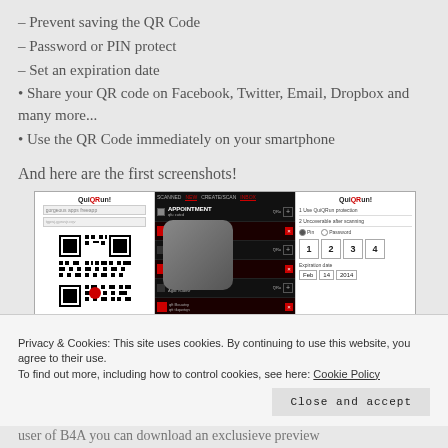– Prevent saving the QR Code
– Password or PIN protect
– Set an expiration date
• Share your QR code on Facebook, Twitter, Email, Dropbox and many more...
• Use the QR Code immediately on your smartphone
And here are the first screenshots!
[Figure (screenshot): Three screenshots of a QR code mobile app showing a QR code scanner/creator interface with appointment, bookmark, contact, and coupon options, plus PIN and expiration date settings]
Privacy & Cookies: This site uses cookies. By continuing to use this website, you agree to their use.
To find out more, including how to control cookies, see here: Cookie Policy
Close and accept
user of B4A you can download an exclusieve preview